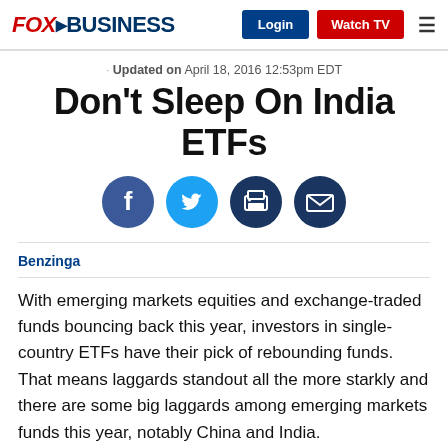FOX BUSINESS | Login | Watch TV
Updated on April 18, 2016 12:53pm EDT
Don't Sleep On India ETFs
[Figure (infographic): Social sharing icons: Facebook, Twitter, Print, Email]
Benzinga
With emerging markets equities and exchange-traded funds bouncing back this year, investors in single-country ETFs have their pick of rebounding funds. That means laggards standout all the more starkly and there are some big laggards among emerging markets funds this year, notably China and India.